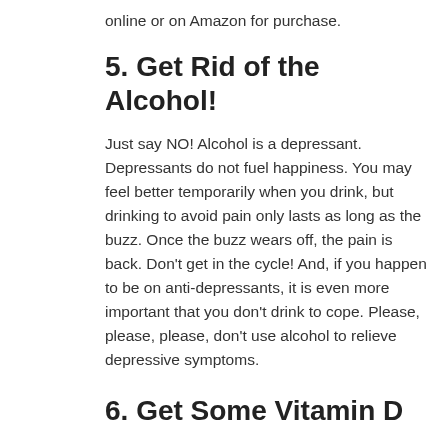online or on Amazon for purchase.
5. Get Rid of the Alcohol!
Just say NO! Alcohol is a depressant. Depressants do not fuel happiness. You may feel better temporarily when you drink, but drinking to avoid pain only lasts as long as the buzz. Once the buzz wears off, the pain is back. Don’t get in the cycle! And, if you happen to be on anti-depressants, it is even more important that you don’t drink to cope. Please, please, please, don’t use alcohol to relieve depressive symptoms.
6. Get Some Vitamin D